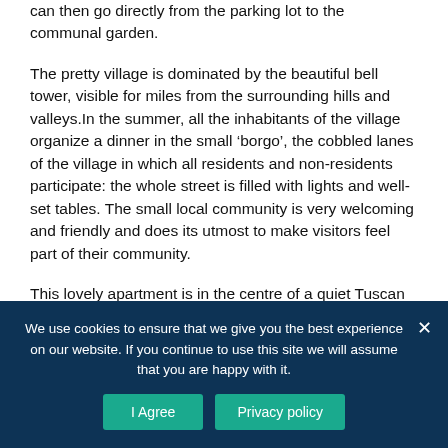can then go directly from the parking lot to the communal garden.
The pretty village is dominated by the beautiful bell tower, visible for miles from the surrounding hills and valleys.In the summer, all the inhabitants of the village organize a dinner in the small ‘borgo’, the cobbled lanes of the village in which all residents and non-residents participate: the whole street is filled with lights and well-set tables. The small local community is very welcoming and friendly and does its utmost to make visitors feel part of their community.
This lovely apartment is in the centre of a quiet Tuscan village and within easy walking distance of the village
We use cookies to ensure that we give you the best experience on our website. If you continue to use this site we will assume that you are happy with it.